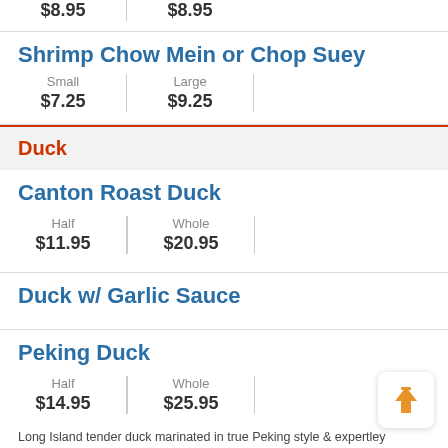| Small | Large |
| --- | --- |
| $8.95 | $8.95 |
Shrimp Chow Mein or Chop Suey
| Small | Large |
| --- | --- |
| $7.25 | $9.25 |
Duck
Canton Roast Duck
| Half | Whole |
| --- | --- |
| $11.95 | $20.95 |
Duck w/ Garlic Sauce
Peking Duck
| Half | Whole |
| --- | --- |
| $14.95 | $25.95 |
Long Island tender duck marinated in true Peking style & expertley roasted w/ sca served w/ 5 pancakes. Whole order served w/ 10 pancakes